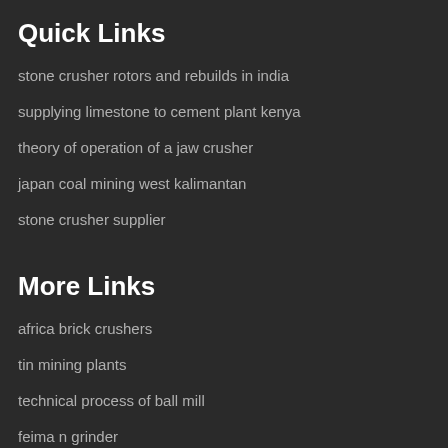Quick Links
stone crusher rotors and rebuilds in india
supplying limestone to cement plant kenya
theory of operation of a jaw crusher
japan coal mining west kalimantan
stone crusher supplier
More Links
africa brick crushers
tin mining plants
technical process of ball mill
feima n grinder